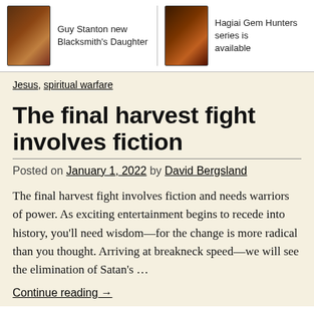Guy Stanton new Blacksmith's Daughter | Hagiai Gem Hunters series is available
Jesus, spiritual warfare
The final harvest fight involves fiction
Posted on January 1, 2022 by David Bergsland
The final harvest fight involves fiction and needs warriors of power. As exciting entertainment begins to recede into history, you'll need wisdom—for the change is more radical than you thought. Arriving at breakneck speed—we will see the elimination of Satan's ...
Continue reading →